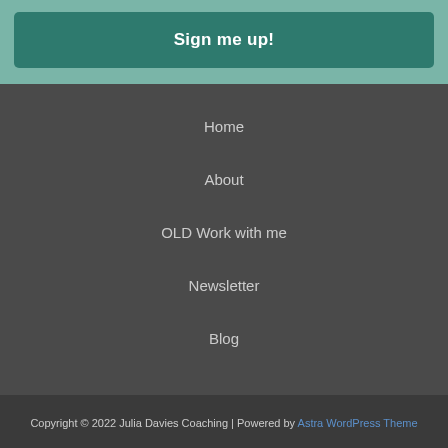[Figure (screenshot): Sign me up button on teal/muted green background]
Home
About
OLD Work with me
Newsletter
Blog
Copyright © 2022 Julia Davies Coaching | Powered by Astra WordPress Theme